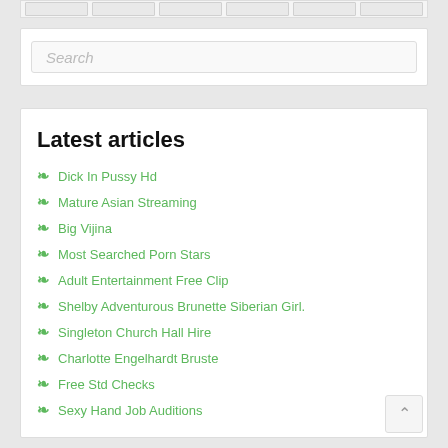[Search box placeholder]
Latest articles
Dick In Pussy Hd
Mature Asian Streaming
Big Vijina
Most Searched Porn Stars
Adult Entertainment Free Clip
Shelby Adventurous Brunette Siberian Girl.
Singleton Church Hall Hire
Charlotte Engelhardt Bruste
Free Std Checks
Sexy Hand Job Auditions